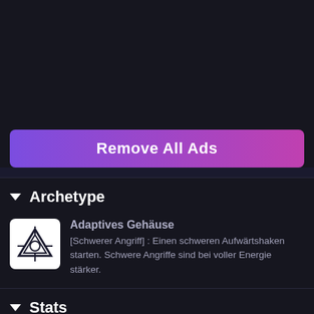[Figure (screenshot): Dark background top area of a game UI screen]
Remove All Ads
Archetype
[Figure (logo): Adaptives Gehause icon - white rounded square with triangle/crosshair symbol]
Adaptives Gehäuse
[Schwerer Angriff] : Einen schweren Aufwärtshaken starten. Schwere Angriffe sind bei voller Energie stärker.
Stats
Schwungtempo
40